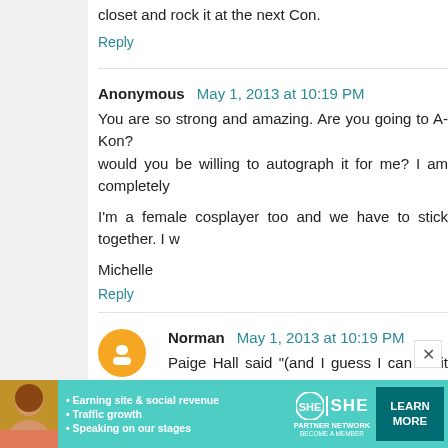closet and rock it at the next Con.
Reply
Anonymous  May 1, 2013 at 10:19 PM
You are so strong and amazing. Are you going to A-Kon? would you be willing to autograph it for me? I am completely
I'm a female cosplayer too and we have to stick together. I w
Michelle
Reply
Norman  May 1, 2013 at 10:19 PM
Paige Hall said "(and I guess I can let it slide that you poste
That picture is so important, though. It reminds us that the from a popular song from a few years back, "We'd never k something wrong here. This isn't the way it's supposed to b what that's called? Being alive. Best thing there is."
This comment thread is full of people who saw your people thinks your thoughts and feelings matter. Than
[Figure (advertisement): SHE Partner Network advertisement banner with woman photo, bullet points about earning site, traffic growth, speaking on stages, SHE logo, and Learn More button]